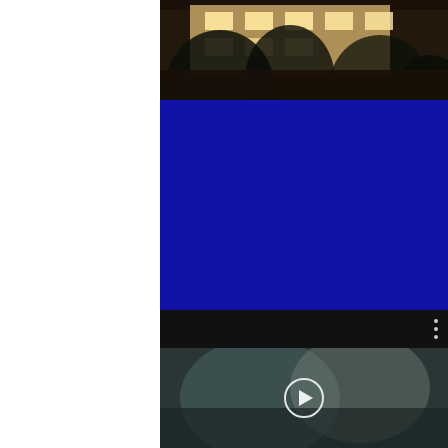[Figure (photo): Night photograph of an illuminated European-style building facade with trees in the foreground]
[Figure (photo): Solid dark blue rectangular block]
[Figure (screenshot): Black toolbar bar with three vertical dots (more options) menu icon on the right]
[Figure (photo): Dark blurry video thumbnail showing people, with a circular play button overlay in the center]